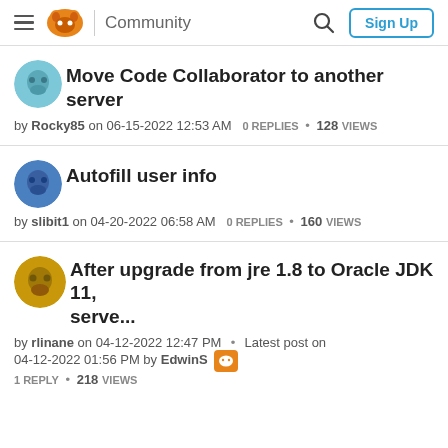Community | Sign Up
Move Code Collaborator to another server
by Rocky85 on 06-15-2022 12:53 AM  0 REPLIES • 128 VIEWS
Autofill user info
by slibit1 on 04-20-2022 06:58 AM  0 REPLIES • 160 VIEWS
After upgrade from jre 1.8 to Oracle JDK 11, serve...
by rlinane on 04-12-2022 12:47 PM • Latest post on 04-12-2022 01:56 PM by EdwinS  1 REPLY • 218 VIEWS